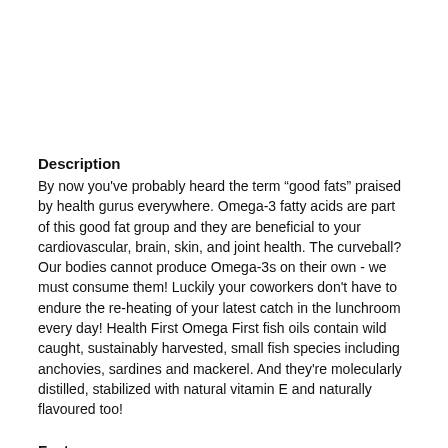Description
By now you've probably heard the term “good fats” praised by health gurus everywhere. Omega-3 fatty acids are part of this good fat group and they are beneficial to your cardiovascular, brain, skin, and joint health. The curveball? Our bodies cannot produce Omega-3s on their own - we must consume them! Luckily your coworkers don't have to endure the re-heating of your latest catch in the lunchroom every day! Health First Omega First fish oils contain wild caught, sustainably harvested, small fish species including anchovies, sardines and mackerel. And they're molecularly distilled, stabilized with natural vitamin E and naturally flavoured too!
Features